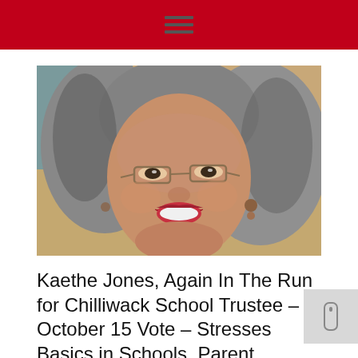[Figure (photo): Headshot photograph of Kaethe Jones, a middle-aged woman with curly grey and brown hair, wearing glasses and red lipstick, smiling at the camera]
Kaethe Jones, Again In The Run for Chilliwack School Trustee – October 15 Vote – Stresses Basics in Schools, Parent Involvement